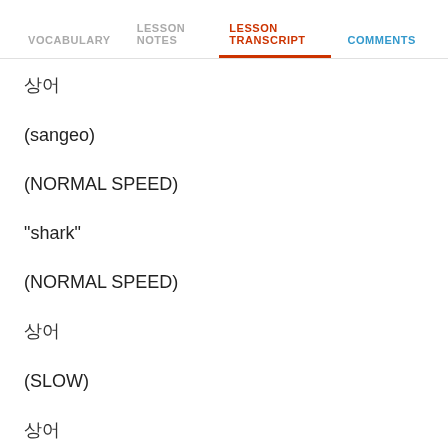VOCABULARY | LESSON NOTES | LESSON TRANSCRIPT | COMMENTS
상어
(sangeo)
(NORMAL SPEED)
"shark"
(NORMAL SPEED)
상어
(SLOW)
상어
(NORMAL SPEED)